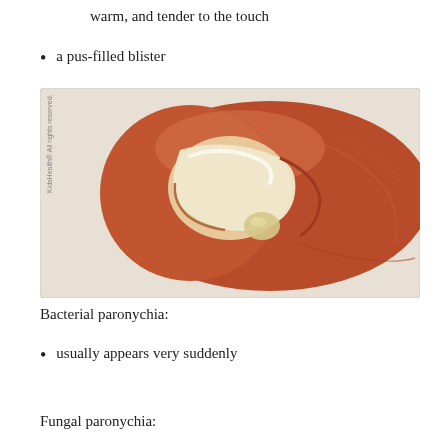warm, and tender to the touch
a pus-filled blister
[Figure (illustration): Medical illustration of a toe with an ingrown nail showing bacterial paronychia — a pus-filled blister visible at the nail fold. Watermark: KidsHealth® All rights reserved.]
Bacterial paronychia:
usually appears very suddenly
Fungal paronychia: